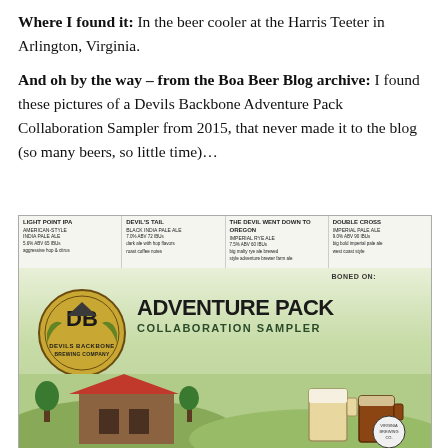Where I found it: In the beer cooler at the Harris Teeter in Arlington, Virginia.
And oh by the way – from the Boa Beer Blog archive: I found these pictures of a Devils Backbone Adventure Pack Collaboration Sampler from 2015, that never made it to the blog (so many beers, so little time)…
[Figure (photo): Photo of a Devils Backbone Brewing Company Adventure Pack Collaboration Sampler beer variety pack box, showing the DB logo on the left and 'Adventure Pack Collaboration Sampler' text on the right, with illustrated mountain/brewery scene at the bottom.]